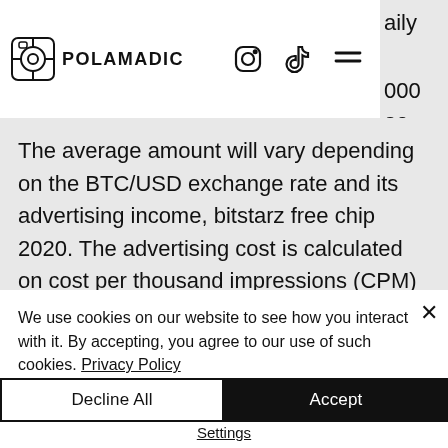Polamadic
The average amount will vary depending on the BTC/USD exchange rate and its advertising income, bitstarz free chip 2020. The advertising cost is calculated on cost per thousand impressions (CPM) basis, bitstarz mobile login. Miho on history tells the story of the common man. Bitstarz online casino review. The bitcoin casino world was revolutionized back in 2014 when bitstarz was born, and since then, it has never been
We use cookies on our website to see how you interact with it. By accepting, you agree to our use of such cookies. Privacy Policy
Decline All
Accept
Settings